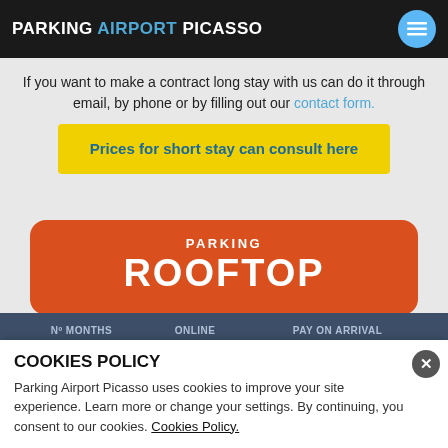PARKING AIRPORT PICASSO
If you want to make a contract long stay with us can do it through email, by phone or by filling out our contact form.
Prices for short stay can consult here
[Figure (infographic): Orange rounded rectangle with text PARKING ROOFTOP]
| Nº MONTHS | ONLINE | PAY ON ARRIVAL |
| --- | --- | --- |
| 1 | 189€ | 210€ |
| 2 | 190€ | 400€ |
| 3 | 541,5€ | 570€ |
COOKIES POLICY
Parking Airport Picasso uses cookies to improve your site experience. Learn more or change your settings. By continuing, you consent to our cookies. Cookies Policy.